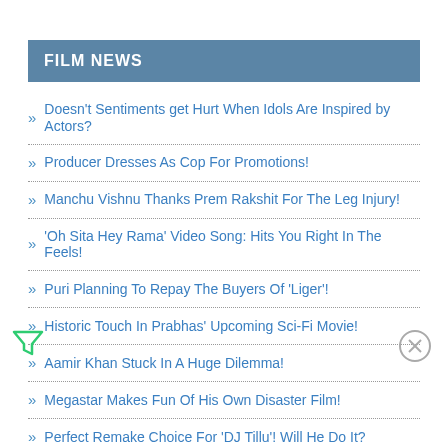FILM NEWS
Doesn't Sentiments get Hurt When Idols Are Inspired by Actors?
Producer Dresses As Cop For Promotions!
Manchu Vishnu Thanks Prem Rakshit For The Leg Injury!
'Oh Sita Hey Rama' Video Song: Hits You Right In The Feels!
Puri Planning To Repay The Buyers Of 'Liger'!
Historic Touch In Prabhas' Upcoming Sci-Fi Movie!
Aamir Khan Stuck In A Huge Dilemma!
Megastar Makes Fun Of His Own Disaster Film!
Perfect Remake Choice For 'DJ Tillu'! Will He Do It?